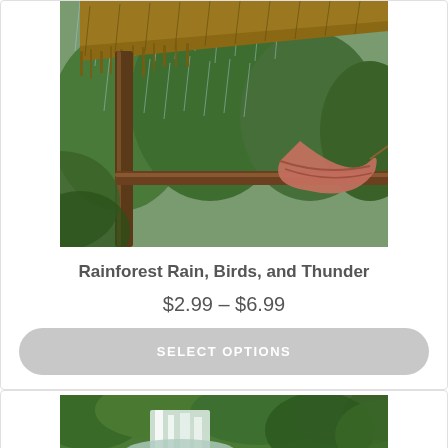[Figure (photo): A view from a thatched-roof jungle hut showing a hammock hanging from a wooden post, with rain falling over lush green rainforest in the background.]
Rainforest Rain, Birds, and Thunder
$2.99 – $6.99
SELECT OPTIONS
[Figure (photo): A waterfall cascading down into a lush green tropical rainforest with dense vegetation surrounding it.]